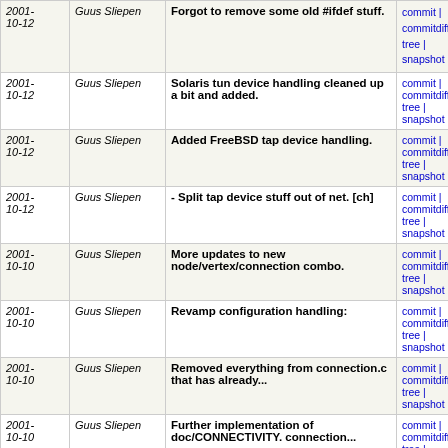| Date | Author | Message | Links |
| --- | --- | --- | --- |
| 2001-10-12 | Guus Sliepen | Forgot to remove some old #ifdef stuff. | commit | commitdiff | tree | snapshot |
| 2001-10-12 | Guus Sliepen | Solaris tun device handling cleaned up a bit and added. | commit | commitdiff | tree | snapshot |
| 2001-10-12 | Guus Sliepen | Added FreeBSD tap device handling. | commit | commitdiff | tree | snapshot |
| 2001-10-12 | Guus Sliepen | - Split tap device stuff out of net.[ch] | commit | commitdiff | tree | snapshot |
| 2001-10-10 | Guus Sliepen | More updates to new node/vertex/connection combo. | commit | commitdiff | tree | snapshot |
| 2001-10-10 | Guus Sliepen | Revamp configuration handling: | commit | commitdiff | tree | snapshot |
| 2001-10-10 | Guus Sliepen | Removed everything from connection.c that has already... | commit | commitdiff | tree | snapshot |
| 2001-10-10 | Guus Sliepen | Further implementation of doc/CONNECTIVITY. connection... | commit | commitdiff | tree | snapshot |
| 2001-10-09 | Wessel Dankers | make is not always GNU make. | commit | commitdiff | tree | snapshot |
| 2001-10-09 | Guus Sliepen | Small corrections. | commit | commitdiff | tree | snapshot |